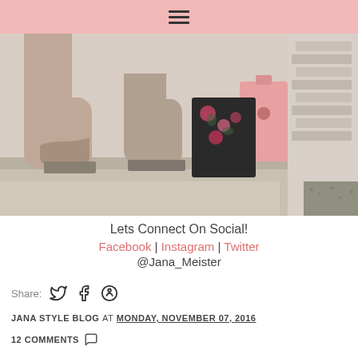≡ (hamburger menu)
[Figure (photo): Close-up photo of two pairs of boots on concrete steps with a floral bag and pink suitcase visible]
Lets Connect On Social!
Facebook | Instagram | Twitter
@Jana_Meister
Share:
JANA STYLE BLOG AT MONDAY, NOVEMBER 07, 2016
12 COMMENTS